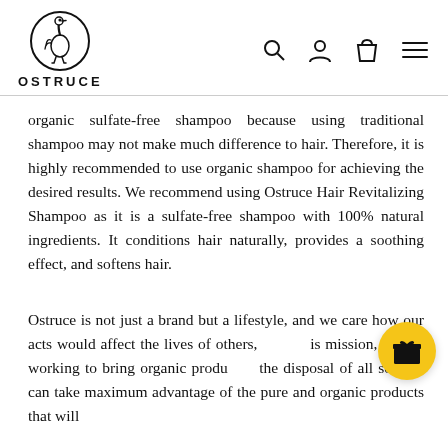OSTRUCE
organic sulfate-free shampoo because using traditional shampoo may not make much difference to hair. Therefore, it is highly recommended to use organic shampoo for achieving the desired results. We recommend using Ostruce Hair Revitalizing Shampoo as it is a sulfate-free shampoo with 100% natural ingredients. It conditions hair naturally, provides a soothing effect, and softens hair.
Ostruce is not just a brand but a lifestyle, and we care how our acts would affect the lives of others, this mission, we are working to bring organic products at the disposal of all so they can take maximum advantage of the pure and organic products that will